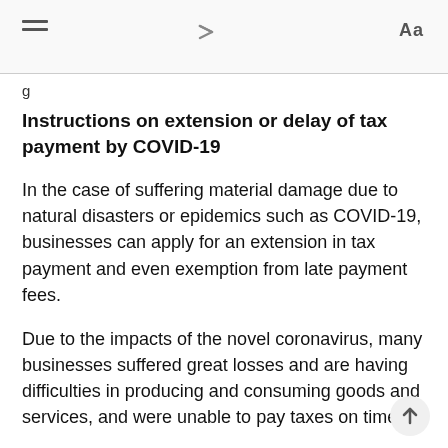≡  ↷  Aa
g
Instructions on extension or delay of tax payment by COVID-19
In the case of suffering material damage due to natural disasters or epidemics such as COVID-19, businesses can apply for an extension in tax payment and even exemption from late payment fees.
Due to the impacts of the novel coronavirus, many businesses suffered great losses and are having difficulties in producing and consuming goods and services, and were unable to pay taxes on time.
According to the newly issued guidelines of the tax